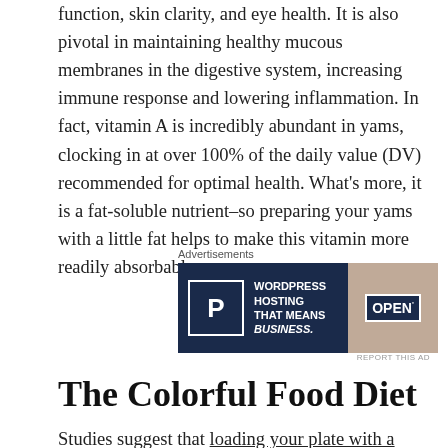function, skin clarity, and eye health. It is also pivotal in maintaining healthy mucous membranes in the digestive system, increasing immune response and lowering inflammation. In fact, vitamin A is incredibly abundant in yams, clocking in at over 100% of the daily value (DV) recommended for optimal health. What's more, it is a fat-soluble nutrient–so preparing your yams with a little fat helps to make this vitamin more readily absorbable.
[Figure (other): Advertisement banner: WordPress Hosting That Means Business. Shows a P logo in a white box on dark navy background, with an OPEN sign image on the right.]
The Colorful Food Diet
Studies suggest that loading your plate with a variety of